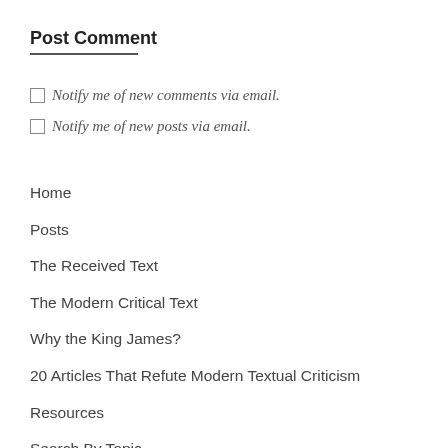Post Comment
Notify me of new comments via email.
Notify me of new posts via email.
Home
Posts
The Received Text
The Modern Critical Text
Why the King James?
20 Articles That Refute Modern Textual Criticism
Resources
Search By Topic